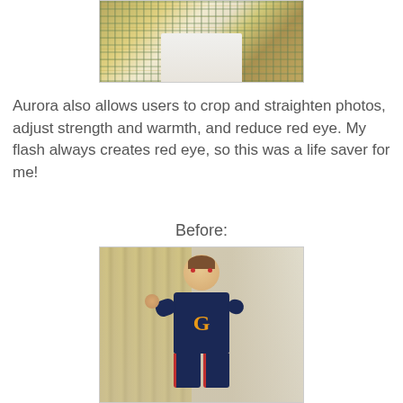[Figure (photo): Photo of folded/stacked clothing items including plaid and patterned fabric, partially cropped at top of page]
Aurora also allows users to crop and straighten photos, adjust strength and warmth, and reduce red eye. My flash always creates red eye, so this was a life saver for me!
Before:
[Figure (photo): Photo of a young toddler boy with brown hair, wearing a dark navy shirt with orange letter G, posing with fists up in a superhero stance. Background shows curtains and a room interior.]